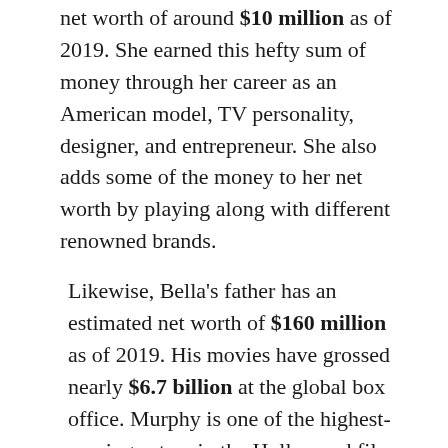net worth of around $10 million as of 2019. She earned this hefty sum of money through her career as an American model, TV personality, designer, and entrepreneur. She also adds some of the money to her net worth by playing along with different renowned brands.
Likewise, Bella's father has an estimated net worth of $160 million as of 2019. His movies have grossed nearly $6.7 billion at the global box office. Murphy is one of the highest-earning actors in the Hollywood film industry. Also, he is a philanthropic personality as well.
Most noteworthy, He has donated money to the AIDS Foundation, and cancer, education creative arts, family support, health, and homeless charities. He has donated $100,000 to the Screen Actors'Guild's strike relief fund. Looking at the